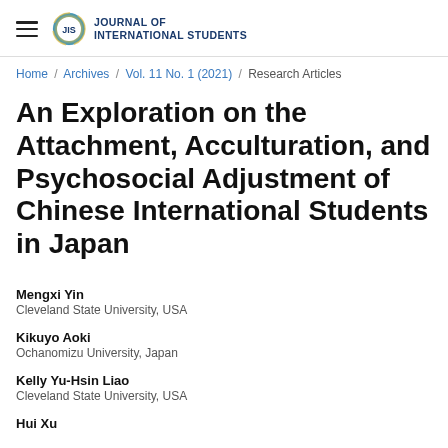Journal of International Students
Home / Archives / Vol. 11 No. 1 (2021) / Research Articles
An Exploration on the Attachment, Acculturation, and Psychosocial Adjustment of Chinese International Students in Japan
Mengxi Yin
Cleveland State University, USA
Kikuyo Aoki
Ochanomizu University, Japan
Kelly Yu-Hsin Liao
Cleveland State University, USA
Hui Xu